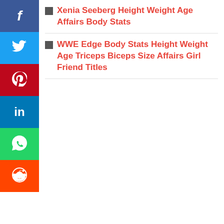Xenia Seeberg Height Weight Age Affairs Body Stats
WWE Edge Body Stats Height Weight Age Triceps Biceps Size Affairs Girl Friend Titles
[Figure (other): Social media sharing sidebar with Facebook, Twitter, Pinterest, LinkedIn, WhatsApp, and Reddit buttons]
BollywoodFox
Know Your Favorite Celebrities
Get A to Z information about famous celebrities of Hollywood, Bollywood, Sports, and Politics. Learn about their Lifestyle, Career, Relationships, Gossip and much more.
Bollywood Actress